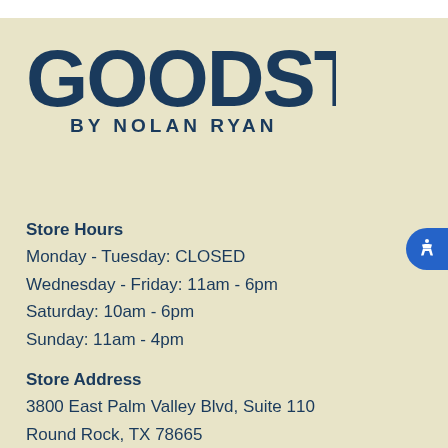[Figure (logo): Goodstock by Nolan Ryan logo — large bold serif/display text 'GOODSTOCK' with 'BY NOLAN RYAN' in smaller bold caps below]
Store Hours
Monday - Tuesday: CLOSED
Wednesday - Friday: 11am - 6pm
Saturday: 10am - 6pm
Sunday: 11am - 4pm
Store Address
3800 East Palm Valley Blvd, Suite 110
Round Rock, TX 78665